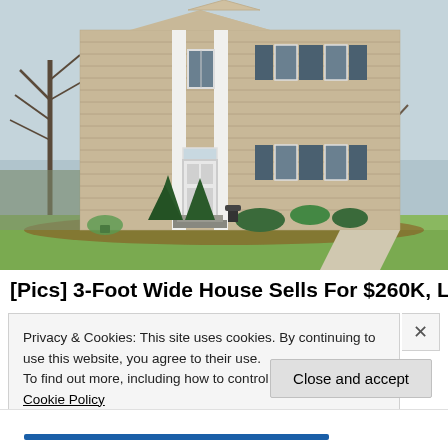[Figure (photo): Exterior photo of a two-story tan/beige colonial-style house with dark shutters, white front door, brick steps, evergreen shrubs, and green lawn. Bare trees visible on the left side.]
[Pics] 3-Foot Wide House Sells For $260K, Look
Privacy & Cookies: This site uses cookies. By continuing to use this website, you agree to their use.
To find out more, including how to control cookies, see here: Cookie Policy
Close and accept